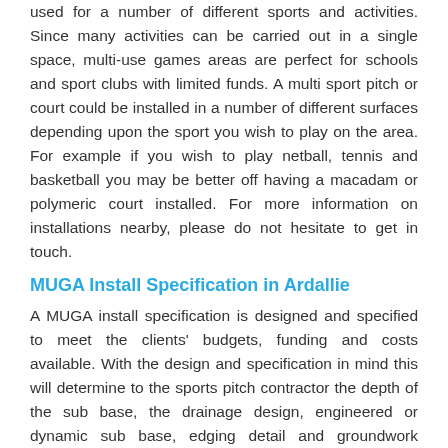used for a number of different sports and activities. Since many activities can be carried out in a single space, multi-use games areas are perfect for schools and sport clubs with limited funds. A multi sport pitch or court could be installed in a number of different surfaces depending upon the sport you wish to play on the area. For example if you wish to play netball, tennis and basketball you may be better off having a macadam or polymeric court installed. For more information on installations nearby, please do not hesitate to get in touch.
MUGA Install Specification in Ardallie
A MUGA install specification is designed and specified to meet the clients' budgets, funding and costs available. With the design and specification in mind this will determine to the sports pitch contractor the depth of the sub base, the drainage design, engineered or dynamic sub base, edging detail and groundwork materials. As we carry out colour coating you can choose a bespoke design with individual line markings for each of your chosen sports http://multiusegamesarea.co.uk/surfacing/painting-sports-surfaces/aberdeenshire/ardallie/ This specialist painting is done to give anti-slip qualities to improve safety and grip on the